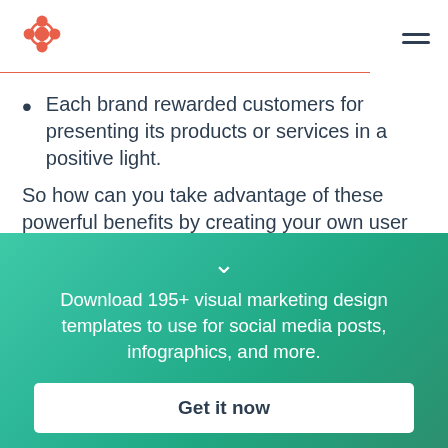HubSpot logo and navigation menu
Each brand rewarded customers for presenting its products or services in a positive light.
So how can you take advantage of these powerful benefits by creating your own user generated content campaign? Consider any of the following tips as you plan your promotion:
[Figure (infographic): Green gradient call-to-action banner with chevron down arrow, promotional text, and Get it now button]
Download 195+ visual marketing design templates to use for social media posts, infographics, and more.
Get it now